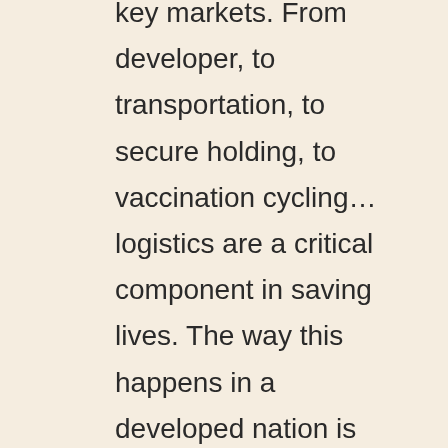key markets. From developer, to transportation, to secure holding, to vaccination cycling... logistics are a critical component in saving lives. The way this happens in a developed nation is different to a developing nation. Develop your knowledge and expertise in this challenging area through this comprehensive programme.